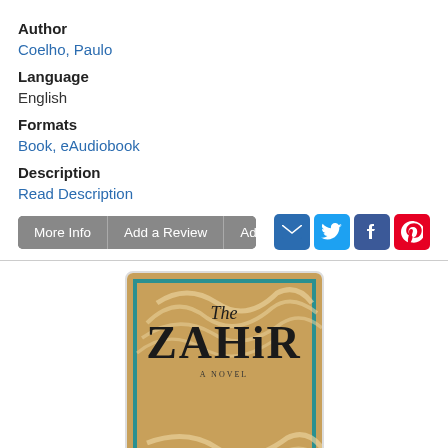Author
Coelho, Paulo
Language
English
Formats
Book, eAudiobook
Description
Read Description
[Figure (illustration): Book cover for 'The Zahir' by Paulo Coelho — gold/tan background with teal border, decorative ribbon swirls, title 'The Zahir' in large serif font, author name 'PAULO COELHO' at bottom]
[Figure (other): Five star rating widget, partially filled]